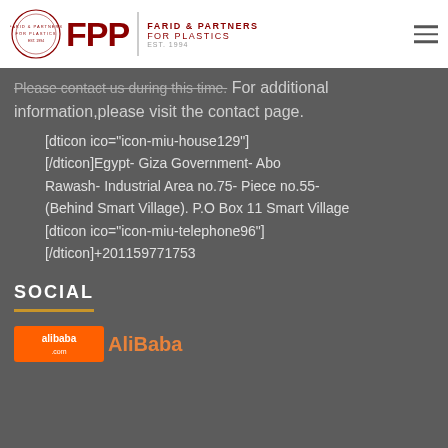[Figure (logo): FPP - Farid & Partners for Plastics logo with circular emblem, red FPP letters, vertical divider, and company name. EST. 1994.]
Please contact us during this time.For additional information,please visit the contact page.
[dticon ico="icon-miu-house129"] [/dticon]Egypt- Giza Government- Abo Rawash- Industrial Area no.75- Piece no.55- (Behind Smart Village). P.O Box 11 Smart Village [dticon ico="icon-miu-telephone96"] [/dticon]+201159771753
SOCIAL
[Figure (logo): Alibaba.com logo followed by AliBaba text in orange]